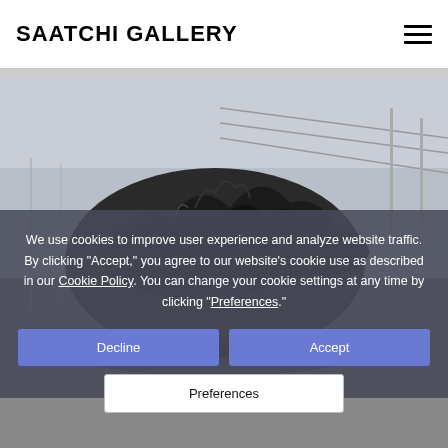SAATCHI GALLERY
[Figure (photo): Gallery interior photograph showing a large dark rocky or debris-like sculpture on a reflective floor with metal railings and a white ceiling in the background.]
We use cookies to improve user experience and analyze website traffic. By clicking "Accept," you agree to our website's cookie use as described in our Cookie Policy. You can change your cookie settings at any time by clicking "Preferences."
Decline
Accept
Preferences